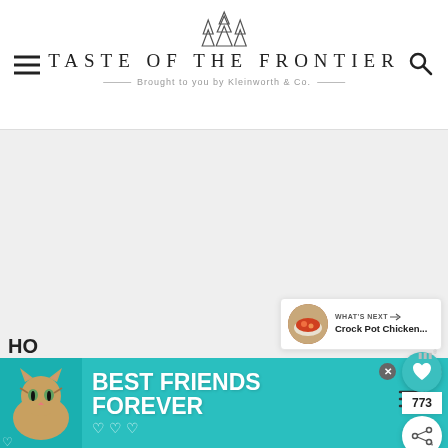TASTE OF THE FRONTIER — Brought to you by Kleinworth & Co.
[Figure (screenshot): Large blank/white main content image area below the site header]
[Figure (infographic): Social sidebar with teal heart button, 773 count, and share button]
[Figure (infographic): What's Next widget showing a bowl of Crock Pot Chicken... recipe thumbnail]
[Figure (infographic): Ad banner with cat image and Best Friends Forever text on teal background]